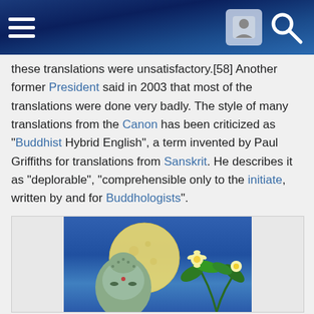Navigation bar with hamburger menu and search/user icons
these translations were unsatisfactory.[58] Another former President said in 2003 that most of the translations were done very badly. The style of many translations from the Canon has been criticized as "Buddhist Hybrid English", a term invented by Paul Griffiths for translations from Sanskrit. He describes it as "deplorable", "comprehensible only to the initiate, written by and for Buddhologists".
Selections: see List of Pali Canon anthologies.
Contents of the Canon
Pali Canon
Vinaya Pitaka
[Figure (photo): Photo of a Buddha statue with a full moon and white tropical flowers against a blue sky background]